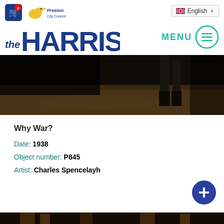[Figure (logo): The Harris museum logo with Preston City Council logo, basket icon, and menu button with language selector]
[Figure (photo): Dark photograph showing ground/boots, museum artifact context image top]
Why War?
Date: 1938
Object number: P845
Artist: Charles Spencelayh
[Figure (photo): Dark photograph showing Egyptian-style artifacts/sculptures in warm amber tones]